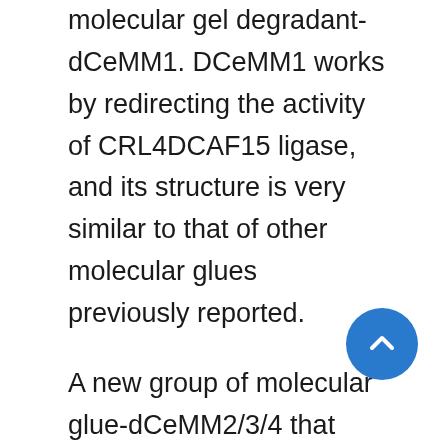molecular gel degradant-dCeMM1. DCeMM1 works by redirecting the activity of CRL4DCAF15 ligase, and its structure is very similar to that of other molecular glues previously reported.
A new group of molecular glue-dCeMM2/3/4 that can induce the degradation of cyclin K was also discovered. Cyclin K is essential in many different types of cancer. CRISPR screening showed that both CUL4 and DDB1 were needed for cyclin K degradation. DCeMM2/3/4, a new cyclin K degrader, works through an unprecedented molecular mechanism involving “E3 CUL4B:DDB1.” It indu… ubiquitination and degradation of CyclinK by promoting the interaction between CDK12-cyclin K and CRL4B ligase complex (Cullin 4B-Ring E3 ligase